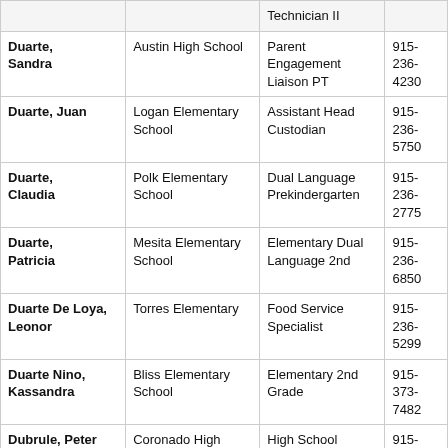| Name | School | Position | Phone |
| --- | --- | --- | --- |
|  |  | Technician II |  |
| Duarte, Sandra | Austin High School | Parent Engagement Liaison PT | 915-236-4230 |
| Duarte, Juan | Logan Elementary School | Assistant Head Custodian | 915-236-5750 |
| Duarte, Claudia | Polk Elementary School | Dual Language Prekindergarten | 915-236-2775 |
| Duarte, Patricia | Mesita Elementary School | Elementary Dual Language 2nd | 915-236-6850 |
| Duarte De Loya, Leonor | Torres Elementary | Food Service Specialist | 915-236-5299 |
| Duarte Nino, Kassandra | Bliss Elementary School | Elementary 2nd Grade | 915-373-7482 |
| Dubrule, Peter | Coronado High School | High School Speech Combination | 915-236-2000 |
| Duchene, Juanita | Ross Middle School | Paraprofessional Support | 915-236-0800 |
| Duchene, Rodney | Captain Gabriel Navarrete Middle School | Campus Teaching Coach - District | 915-236-6350 |
| Duckett, Toni | Coronado High School | High School AP Social Studies Combo | 915-236-2000 |